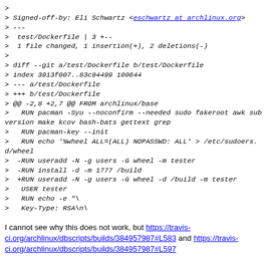> 
> Signed-off-by: Eli Schwartz <eschwartz at archlinux.org>
> ---
>  test/Dockerfile | 3 +--
>  1 file changed, 1 insertion(+), 2 deletions(-)
> 
> diff --git a/test/Dockerfile b/test/Dockerfile
> index 3913f007..83c84499 100644
> --- a/test/Dockerfile
> +++ b/test/Dockerfile
> @@ -2,8 +2,7 @@ FROM archlinux/base
>   RUN pacman -Syu --noconfirm --needed sudo fakeroot awk subversion make kcov bash-bats gettext grep
>   RUN pacman-key --init
>   RUN echo '%wheel ALL=(ALL) NOPASSWD: ALL' > /etc/sudoers.d/wheel
>  -RUN useradd -N -g users -G wheel -m tester
>  -RUN install -d -m 1777 /build
>  +RUN useradd -N -g users -G wheel -d /build -m tester
>   USER tester
>   RUN echo -e "\
>   Key-Type: RSA\n\
I cannot see why this does not work, but https://travis-ci.org/archlinux/dbscripts/builds/384957987#L583 and https://travis-ci.org/archlinux/dbscripts/builds/384957987#L597